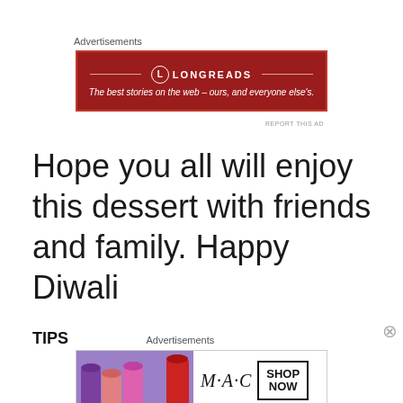Advertisements
[Figure (other): Longreads advertisement banner - red background with white text: 'The best stories on the web – ours, and everyone else's.']
REPORT THIS AD
Hope you all will enjoy this dessert with friends and family. Happy Diwali
TIPS
Advertisements
[Figure (other): MAC cosmetics advertisement banner showing lipsticks and SHOP NOW button]
REPORT THIS AD